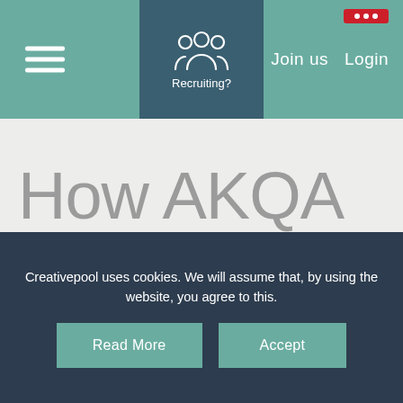Recruiting? | Join us | Login
How AKQA became our 2020 Agency of the Year –
Creativepool uses cookies. We will assume that, by using the website, you agree to this.
Read More
Accept